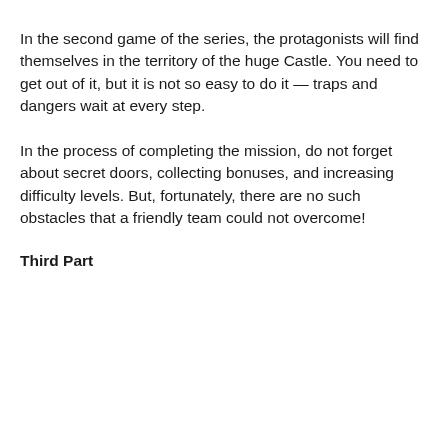In the second game of the series, the protagonists will find themselves in the territory of the huge Castle. You need to get out of it, but it is not so easy to do it — traps and dangers wait at every step.
In the process of completing the mission, do not forget about secret doors, collecting bonuses, and increasing difficulty levels. But, fortunately, there are no such obstacles that a friendly team could not overcome!
Third Part